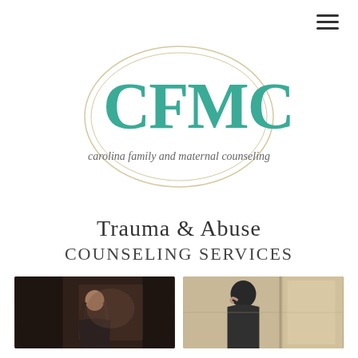[Figure (logo): CFMC Carolina Family and Maternal Counseling logo — large teal letters CFMC inside a circular outline with script text below]
Trauma & Abuse Counseling Services
[Figure (photo): Left photo: person with head hanging down, dark moody image suggesting distress]
[Figure (photo): Right photo: person in dark hoodie with head bowed, warm-toned moody image]